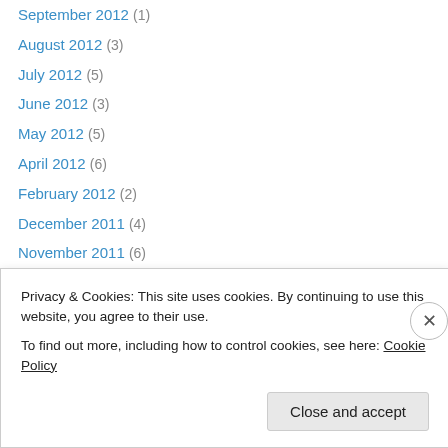September 2012 (1)
August 2012 (3)
July 2012 (5)
June 2012 (3)
May 2012 (5)
April 2012 (6)
February 2012 (2)
December 2011 (4)
November 2011 (6)
October 2011 (8)
September 2011 (12)
August 2011 (18)
July 2011 (9)
May 2011 (2)
Privacy & Cookies: This site uses cookies. By continuing to use this website, you agree to their use.
To find out more, including how to control cookies, see here: Cookie Policy